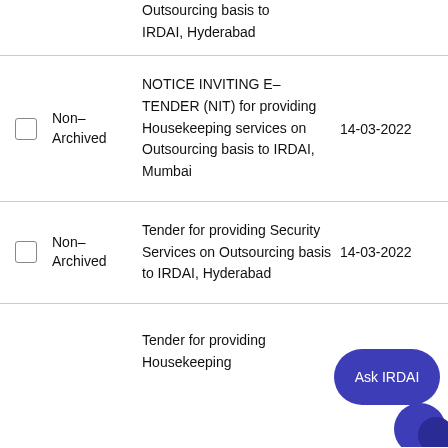Outsourcing basis to IRDAI, Hyderabad
|  | Status | Title | Date |
| --- | --- | --- | --- |
| ☐ | Non-Archived | NOTICE INVITING E-TENDER (NIT) for providing Housekeeping services on Outsourcing basis to IRDAI, Mumbai | 14-03-2022 |
| ☐ | Non-Archived | Tender for providing Security Services on Outsourcing basis to IRDAI, Hyderabad | 14-03-2022 |
|  |  | Tender for providing Housekeeping... |  |
[Figure (illustration): Ask IRDAI chat bubble button in dark blue]